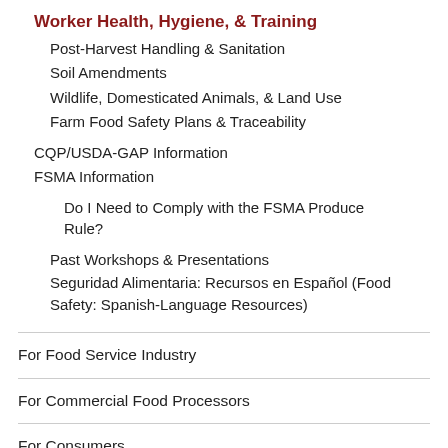Worker Health, Hygiene, & Training
Post-Harvest Handling & Sanitation
Soil Amendments
Wildlife, Domesticated Animals, & Land Use
Farm Food Safety Plans & Traceability
CQP/USDA-GAP Information
FSMA Information
Do I Need to Comply with the FSMA Produce Rule?
Past Workshops & Presentations
Seguridad Alimentaria: Recursos en Español (Food Safety: Spanish-Language Resources)
For Food Service Industry
For Commercial Food Processors
For Consumers